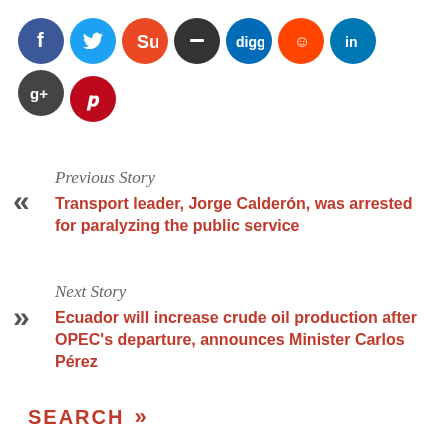[Figure (infographic): Row of social media sharing icon circles: Facebook (blue), Twitter (light blue), StumbleUpon (orange-red), dash/minus (dark gray), Digg (blue), Reddit (orange-red), LinkedIn (blue), Google+ (dark gray), Pinterest (red)]
Previous Story
Transport leader, Jorge Calderón, was arrested for paralyzing the public service
Next Story
Ecuador will increase crude oil production after OPEC's departure, announces Minister Carlos Pérez
SEARCH »